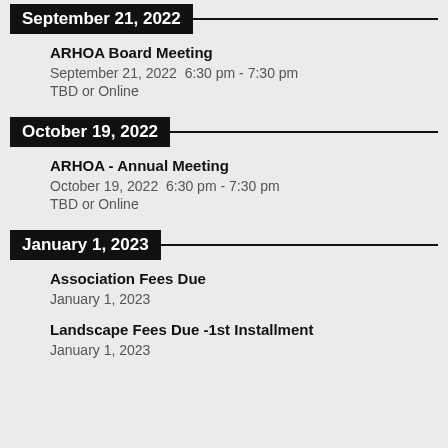September 21, 2022
ARHOA Board Meeting
September 21, 2022  6:30 pm - 7:30 pm
TBD or Online
October 19, 2022
ARHOA - Annual Meeting
October 19, 2022  6:30 pm - 7:30 pm
TBD or Online
January 1, 2023
Association Fees Due
January 1, 2023
Landscape Fees Due -1st Installment
January 1, 2023